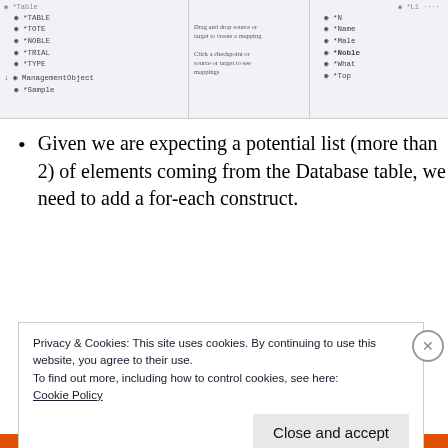[Figure (screenshot): Screenshot of a database/mapping tool showing a tree list on the left with items like *TABLE, *TOTE, *NOBLE, *TRIAL, *TYPE, and ManagementObject/Sample; a middle panel with instruction text; and a right panel with similar tree items including *N, *Name, *Male, *Noble, *What, *Top.]
Given we are expecting a potential list (more than 2) of elements coming from the Database table, we need to add a for-each construct.
In the Source panel, identify the repeatable
Privacy & Cookies: This site uses cookies. By continuing to use this website, you agree to their use.
To find out more, including how to control cookies, see here:
Cookie Policy
Close and accept